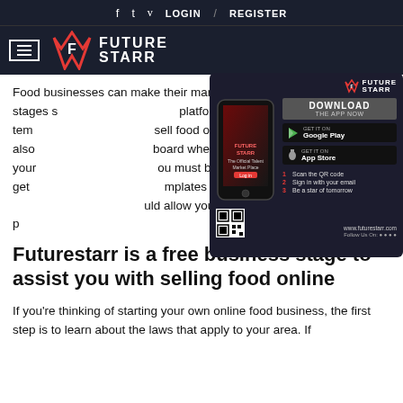f  t  v  LOGIN  /  REGISTER
[Figure (logo): FutureStarr logo with hamburger menu icon on dark navy background]
Food businesses can make their mark online by using free business stages s... platform is full of free business tem... sell food online. This platform also... board where you can manage your... ou must be careful not to get... mplates and gimmicks. A well-... uld allow you to create the best p...
[Figure (screenshot): FutureStarr app advertisement popup showing phone mockup, DOWNLOAD THE APP NOW text, Google Play and App Store buttons, QR code, and steps to get started. www.futurestarr.com]
Futurestarr is a free business stage to assist you with selling food online
If you're thinking of starting your own online food business, the first step is to learn about the laws that apply to your area. If